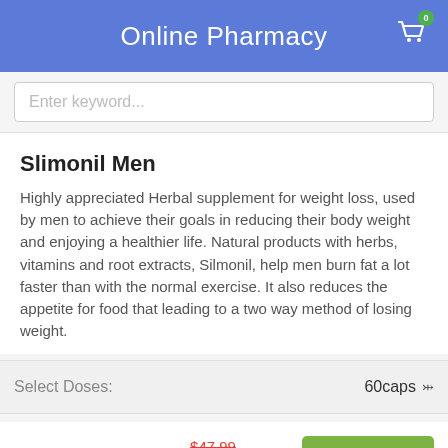Online Pharmacy
Enter keyword...
Slimonil Men
Highly appreciated Herbal supplement for weight loss, used by men to achieve their goals in reducing their body weight and enjoying a healthier life. Natural products with herbs, vitamins and root extracts, Silmonil, help men burn fat a lot faster than with the normal exercise. It also reduces the appetite for food that leading to a two way method of losing weight.
Select Doses: 60caps
60caps 1bottle $47.99 $39.99 $39.99 per bottle Add To Cart save: $0.00
Next orders 10% discount